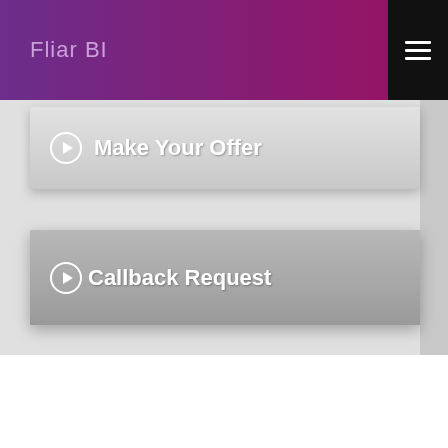Fliar BI
Make Your Offer
Callback Request